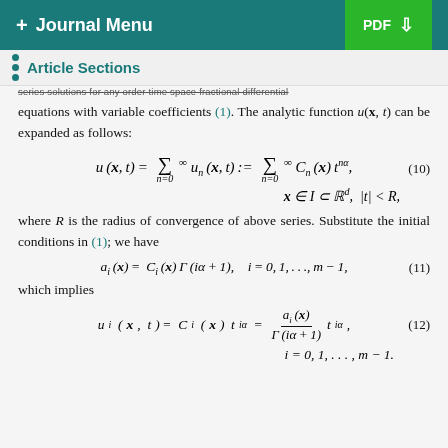+ Journal Menu | PDF ⬇
Article Sections
series solutions for any order time space fractional differential equations with variable coefficients (1). The analytic function u(x, t) can be expanded as follows:
where R is the radius of convergence of above series. Substitute the initial conditions in (1); we have
which implies